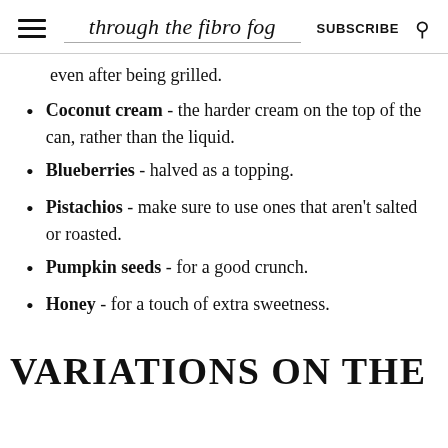through the fibro fog | SUBSCRIBE
even after being grilled.
Coconut cream - the harder cream on the top of the can, rather than the liquid.
Blueberries - halved as a topping.
Pistachios - make sure to use ones that aren't salted or roasted.
Pumpkin seeds - for a good crunch.
Honey - for a touch of extra sweetness.
VARIATIONS ON THE